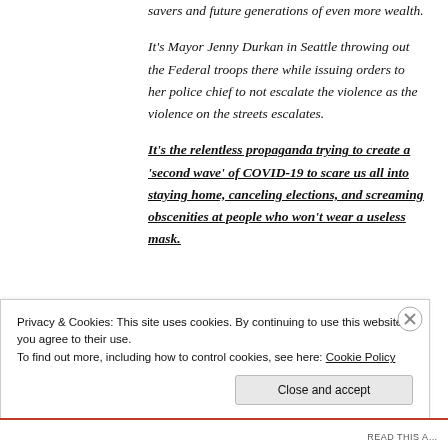savers and future generations of even more wealth.
It's Mayor Jenny Durkan in Seattle throwing out the Federal troops there while issuing orders to her police chief to not escalate the violence as the violence on the streets escalates.
It's the relentless propaganda trying to create a 'second wave' of COVID-19 to scare us all into staying home, canceling elections, and screaming obscenities at people who won't wear a useless mask.
Privacy & Cookies: This site uses cookies. By continuing to use this website, you agree to their use.
To find out more, including how to control cookies, see here: Cookie Policy
Close and accept